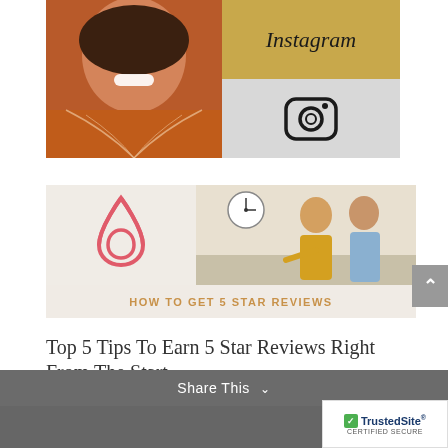[Figure (photo): Instagram collage: woman smiling in orange blouse on left, Instagram text on gold background top right, Instagram camera icon on grey background bottom right]
[Figure (infographic): Airbnb banner with Airbnb logo on left and two people smiling, with text 'HOW TO GET 5 STAR REVIEWS' at the bottom]
Top 5 Tips To Earn 5 Star Reviews Right From The Start
Share This